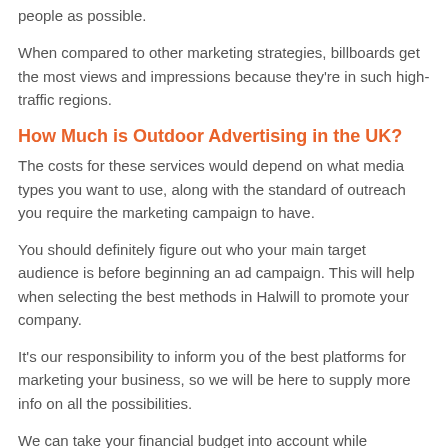people as possible.
When compared to other marketing strategies, billboards get the most views and impressions because they're in such high-traffic regions.
How Much is Outdoor Advertising in the UK?
The costs for these services would depend on what media types you want to use, along with the standard of outreach you require the marketing campaign to have.
You should definitely figure out who your main target audience is before beginning an ad campaign. This will help when selecting the best methods in Halwill to promote your company.
It's our responsibility to inform you of the best platforms for marketing your business, so we will be here to supply more info on all the possibilities.
We can take your financial budget into account while undertaking media preparation for the adverts to ensure you get the best value for money, improving ROI with additional sales.